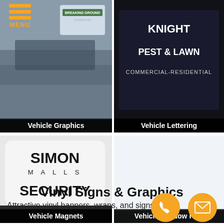[Figure (photo): Menu button with three orange horizontal lines and MENU text in orange]
[Figure (photo): Photo of a vehicle with Breaking Ground Contracting logo/graphics]
Vehicle Graphics
[Figure (photo): Photo of a vehicle with Knight Pest & Lawn Commercial-Residential lettering on dark background]
Vehicle Lettering
[Figure (photo): Photo of a white vehicle magnet reading SIMON MALLS SECURITY]
Vehicle Magnets
[Figure (photo): White/empty area representing Vehicle Window Film product]
Vehicle Window Film
Vinyl Signs & Graphics
Attractive vinyl banners, wraps, and signs made